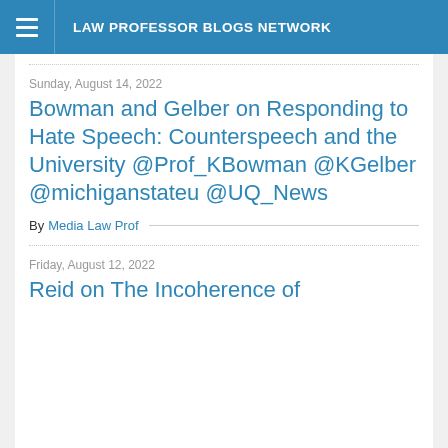LAW PROFESSOR BLOGS NETWORK
Sunday, August 14, 2022
Bowman and Gelber on Responding to Hate Speech: Counterspeech and the University @Prof_KBowman @KGelber @michiganstateu @UQ_News
By Media Law Prof
Friday, August 12, 2022
Reid on The Incoherence of